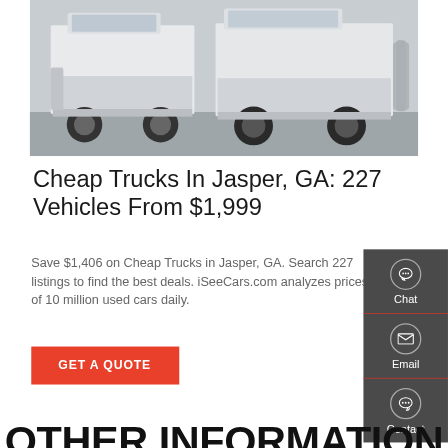[Figure (photo): Two white semi-trucks / tractor units parked side by side in a lot, front-facing view showing cab and front wheels.]
Cheap Trucks In Jasper, GA: 227 Vehicles From $1,999
Save $1,406 on Cheap Trucks in Jasper, GA. Search 227 listings to find the best deals. iSeeCars.com analyzes prices of 10 million used cars daily.
GET A QUOTE
Chat
Email
Contact
OTHER INFORMATION RELATED SR5 LT LT1 OR DUMP TRUCK VEHICLES FOR SALE IN JASPER IN